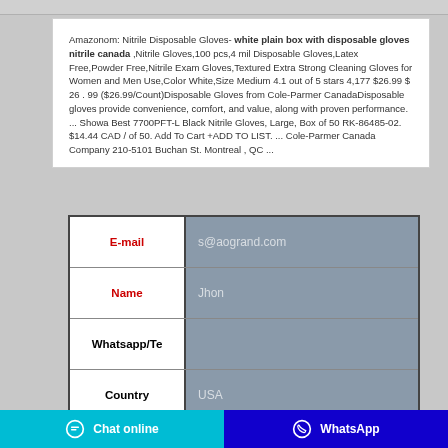Amazonom: Nitrile Disposable Gloves- white plain box with disposable gloves nitrile canada ,Nitrile Gloves,100 pcs,4 mil Disposable Gloves,Latex Free,Powder Free,Nitrile Exam Gloves,Textured Extra Strong Cleaning Gloves for Women and Men Use,Color White,Size Medium 4.1 out of 5 stars 4,177 $26.99 $ 26 . 99 ($26.99/Count)Disposable Gloves from Cole-Parmer CanadaDisposable gloves provide convenience, comfort, and value, along with proven performance. ... Showa Best 7700PFT-L Black Nitrile Gloves, Large, Box of 50 RK-86485-02. $14.44 CAD / of 50. Add To Cart +ADD TO LIST. ... Cole-Parmer Canada Company 210-5101 Buchan St. Montreal , QC ...
| Field | Value |
| --- | --- |
| E-mail | s@aogrand.com |
| Name | Jhon |
| Whatsapp/Te |  |
| Country | USA |
|  |  |